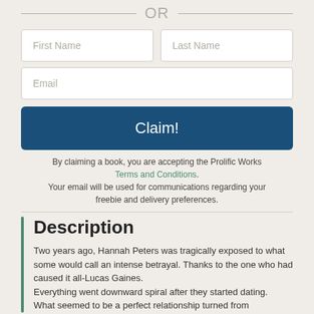OR
First Name
Last Name
Email
Claim!
By claiming a book, you are accepting the Prolific Works Terms and Conditions.
Your email will be used for communications regarding your freebie and delivery preferences.
Description
Two years ago, Hannah Peters was tragically exposed to what some would call an intense betrayal. Thanks to the one who had caused it all-Lucas Gaines.
Everything went downward spiral after they started dating.
What seemed to be a perfect relationship turned from